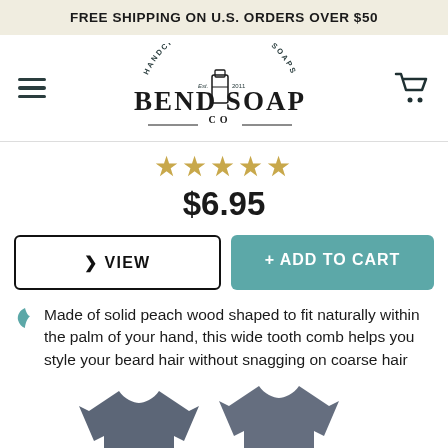FREE SHIPPING ON U.S. ORDERS OVER $50
[Figure (logo): Bend Soap Co. logo — Handcrafted Goat Milk Soaps, Est. 2011, with a milk bottle illustration]
[Figure (other): Five gold/yellow star rating icons]
$6.95
VIEW
+ ADD TO CART
Made of solid peach wood shaped to fit naturally within the palm of your hand, this wide tooth comb helps you style your beard hair without snagging on coarse hair
[Figure (photo): Two dark grey/navy Bend Soap Co. branded t-shirts shown from the front, partially visible at the bottom of the page]